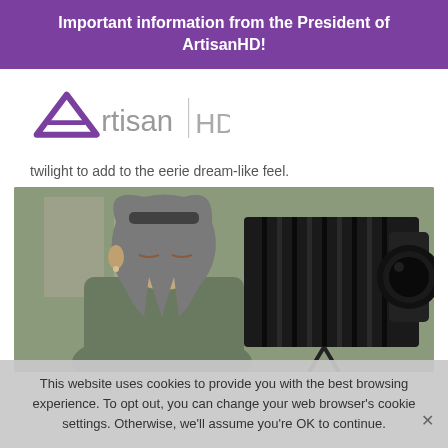Important information from the President of ArtisanHD!
[Figure (logo): ArtisanHD logo with purple A-frame triangle and 'rtisan' in grey, a vertical divider, and 'HD' in grey sans-serif]
twilight to add to the eerie dream-like feel.
[Figure (photo): A man with long grey hair and sunglasses on his head, wearing a grey-green t-shirt, looking upward next to a large black bellows camera on a tripod, outdoors with buildings in background]
This website uses cookies to provide you with the best browsing experience. To opt out, you can change your web browser's cookie settings. Otherwise, we'll assume you're OK to continue.